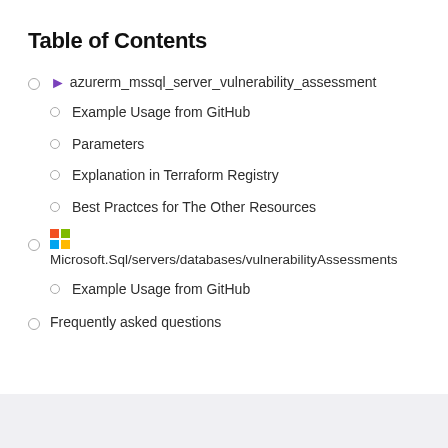Table of Contents
azurerm_mssql_server_vulnerability_assessment
Example Usage from GitHub
Parameters
Explanation in Terraform Registry
Best Practces for The Other Resources
Microsoft.Sql/servers/databases/vulnerabilityAssessments
Example Usage from GitHub
Frequently asked questions